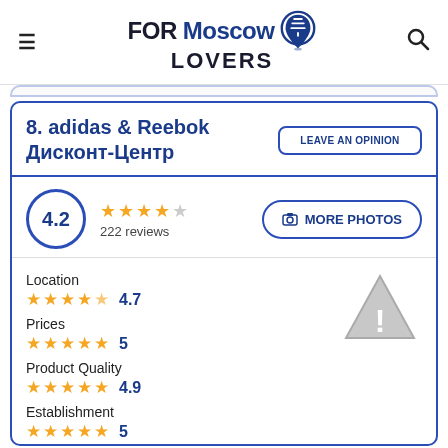FORMoscow LOVERS
8. adidas & Reebok Дисконт-Центр
LEAVE AN OPINION
4.2 — 222 reviews
MORE PHOTOS
Location 4.7
Prices 5
Product Quality 4.9
Establishment 5